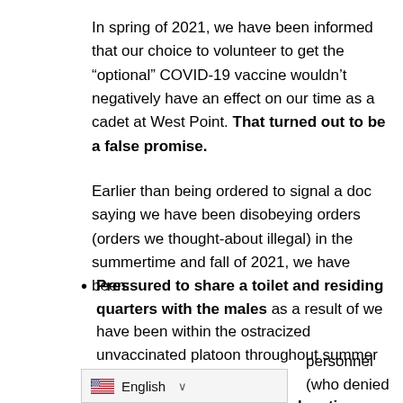In spring of 2021, we have been informed that our choice to volunteer to get the “optional” COVID-19 vaccine wouldn’t negatively have an effect on our time as a cadet at West Point. That turned out to be a false promise.
Earlier than being ordered to signal a doc saying we have been disobeying orders (orders we thought-about illegal) in the summertime and fall of 2021, we have been:
Pressured to share a toilet and residing quarters with the males as a result of we have been within the ostracized unvaccinated platoon throughout summer season coaching.
Pressured to attend a “re-education brief” led personnel (who denied